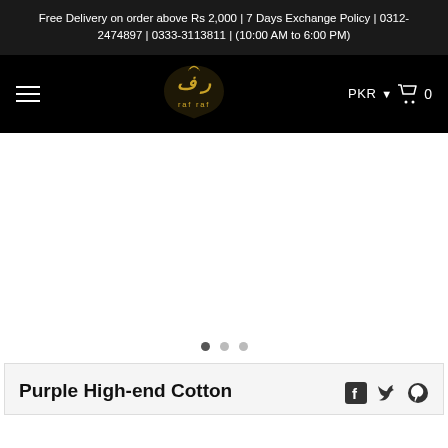Free Delivery on order above Rs 2,000 | 7 Days Exchange Policy | 0312-2474897 | 0333-3113811 | (10:00 AM to 6:00 PM)
[Figure (logo): Raf Raf brand logo — gold Arabic calligraphy monogram with 'raf raf' text below, on black navigation bar]
[Figure (photo): Product image slider — white empty area with three pagination dots at the bottom (first dot active/dark, second and third dots light gray)]
Purple High-end Cotton